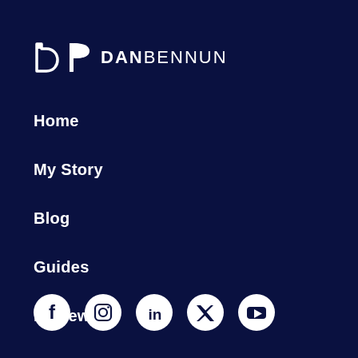[Figure (logo): Dan Bennun logo with a stylized D icon and the text DAN BENNUN in white on dark navy background]
Home
My Story
Blog
Guides
Reviews
[Figure (infographic): Row of 5 white social media icons on circular white backgrounds: Facebook, Instagram, LinkedIn, Twitter/X, YouTube]